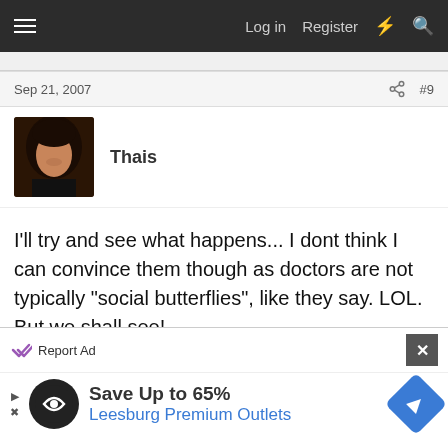Log in  Register
Sep 21, 2007  #9
Thais
I'll try and see what happens... I dont think I can convince them though as doctors are not typically "social butterflies", like they say. LOL. But we shall see!
Advertisement
Report Ad
Save Up to 65%
Leesburg Premium Outlets